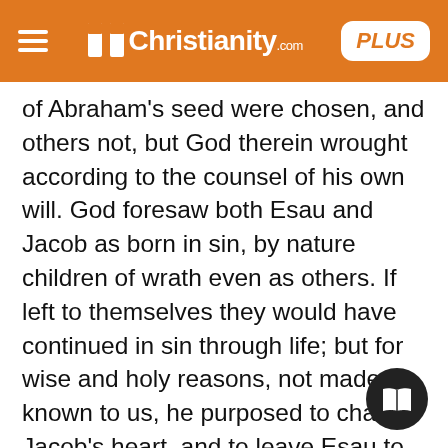Christianity.com PLUS
of Abraham's seed were chosen, and others not, but God therein wrought according to the counsel of his own will. God foresaw both Esau and Jacob as born in sin, by nature children of wrath even as others. If left to themselves they would have continued in sin through life; but for wise and holy reasons, not made known to us, he purposed to change Jacob's heart, and to leave Esau to his perverseness. This instance of Esau and Jacob throws light upon the Divine conduct to the fallen race of man. The whole Scripture shows the difference between the professed Christian and the believer. Outward privileges are bestowed on